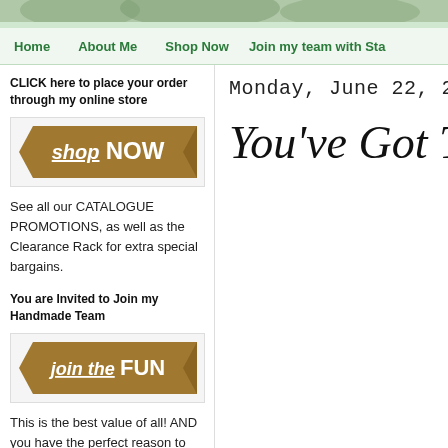[Figure (screenshot): Top decorative banner image with green foliage/tropical pattern]
Home   About Me   Shop Now   Join my team with Sta...
CLICK here to place your order through my online store
[Figure (illustration): Bronze/tan ribbon banner button with text 'shop NOW']
See all our CATALOGUE PROMOTIONS, as well as the Clearance Rack for extra special bargains.
You are Invited to Join my Handmade Team
[Figure (illustration): Bronze/tan ribbon banner button with text 'join the FUN']
This is the best value of all! AND you have the perfect reason to have creative time every day!!
Monday, June 22, 20...
You've Got T...